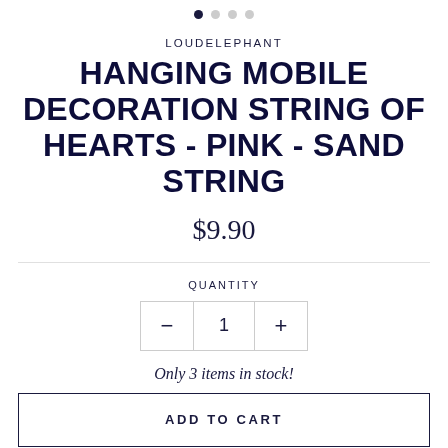[Figure (other): Image carousel navigation dots: one filled dark dot and three empty grey dots]
LOUDELEPHANT
HANGING MOBILE DECORATION STRING OF HEARTS - PINK - SAND STRING
$9.90
QUANTITY
− 1 +
Only 3 items in stock!
ADD TO CART